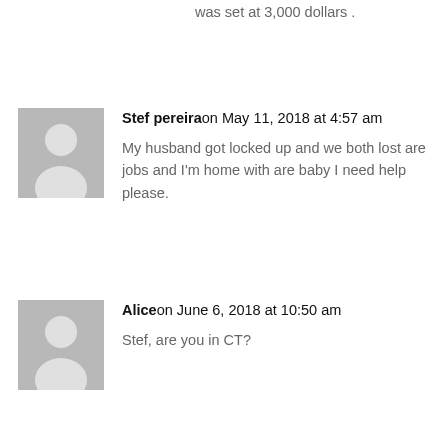was set at 3,000 dollars .
Stef pereiraon May 11, 2018 at 4:57 am
My husband got locked up and we both lost are jobs and I'm home with are baby I need help please.
Aliceon June 6, 2018 at 10:50 am
Stef, are you in CT?